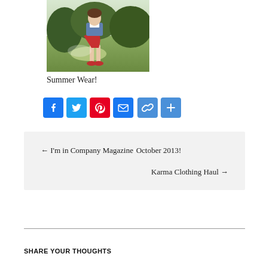[Figure (photo): Photo of a person wearing a red skirt and denim jacket, standing outdoors on grass with trees in background, wearing red shoes.]
Summer Wear!
[Figure (infographic): Social share buttons: Facebook, Twitter, Pinterest, Email, Copy Link, More]
← I'm in Company Magazine October 2013!
Karma Clothing Haul →
SHARE YOUR THOUGHTS